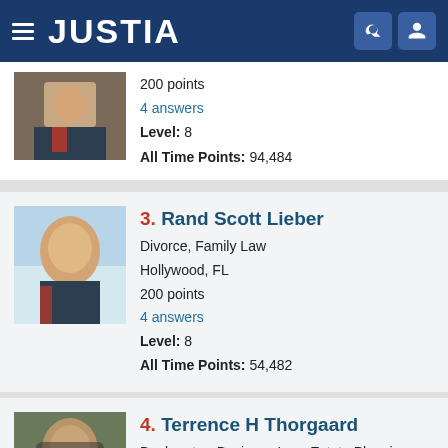JUSTIA
200 points
4 answers
Level: 8
All Time Points: 94,484
3. Rand Scott Lieber
Divorce, Family Law
Hollywood, FL
200 points
4 answers
Level: 8
All Time Points: 54,482
4. Terrence H Thorgaard
Bankruptcy, Business Law, Estate Planning, M...
Freeeport, FL
100 points